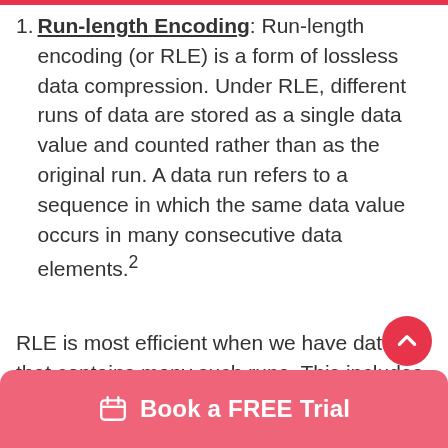1. Run-length Encoding: Run-length encoding (or RLE) is a form of lossless data compression. Under RLE, different runs of data are stored as a single data value and counted rather than as the original run. A data run refers to a sequence in which the same data value occurs in many consecutive data elements.²
RLE is most efficient when we have data that contains many such runs. This includes simple